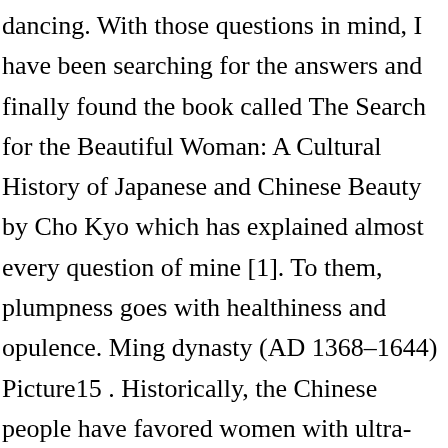dancing. With those questions in mind, I have been searching for the answers and finally found the book called The Search for the Beautiful Woman: A Cultural History of Japanese and Chinese Beauty by Cho Kyo which has explained almost every question of mine [1]. To them, plumpness goes with healthiness and opulence. Ming dynasty (AD 1368–1644) Picture15 . Historically, the Chinese people have favored women with ultra-femininity. Political power stabilized, as officials were elected through the Imperial Examination